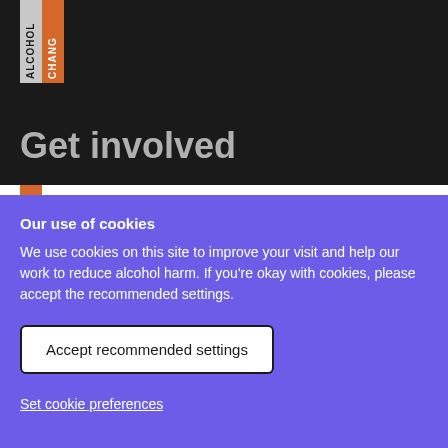[Figure (logo): Alcohol Change UK logo with 'ALCOHOL' text on grey background and 'CHANGE' text on orange background, both rotated vertically]
Get involved
Our use of cookies
We use cookies on this site to improve your visit and help our work to reduce alcohol harm. If you’re okay with cookies, please accept the recommended settings.
Accept recommended settings
Set cookie preferences